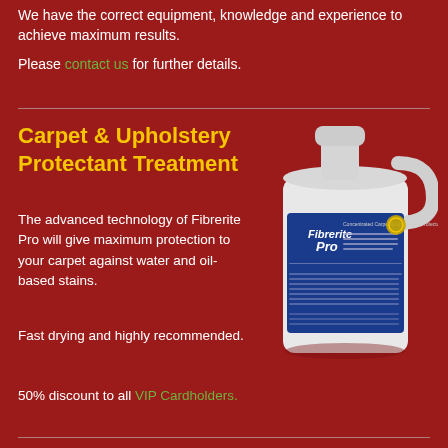We have the correct equipment, knowledge and experience to achieve maximum results.
Please contact us for further details.
Carpet & Upholstery Protectant Treatment
The advanced technology of Fibrerite Pro will give maximum protection to your carpet against water and oil-based stains.
Fast drying and highly recommended.
50% discount to all VIP Cardholders.
[Figure (photo): A white plastic jug/container of Fibrerite Pro Concentrated Carpet & Upholstery Protector product with a blue label.]